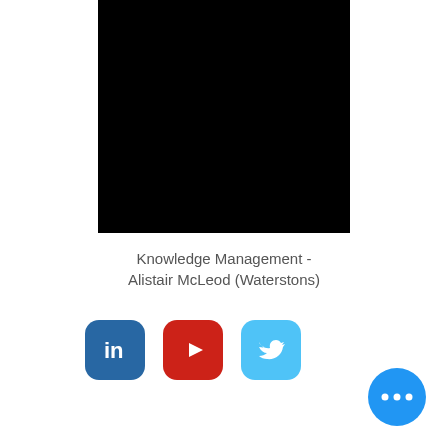[Figure (other): Black video thumbnail/screenshot area]
Knowledge Management - Alistair McLeod (Waterstons)
[Figure (other): Social media icons: LinkedIn, YouTube, Twitter]
[Figure (other): Blue circular more/options button with three dots]